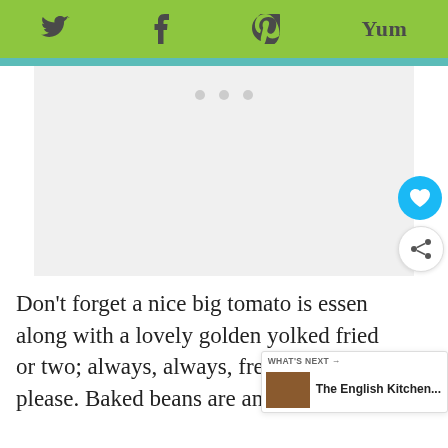Twitter | Facebook | Pinterest | Yum
[Figure (screenshot): Image placeholder area with three slider dots visible]
Don't forget a nice big tomato is essen along with a lovely golden yolked fried or two; always, always, free-range eggs please. Baked beans are another